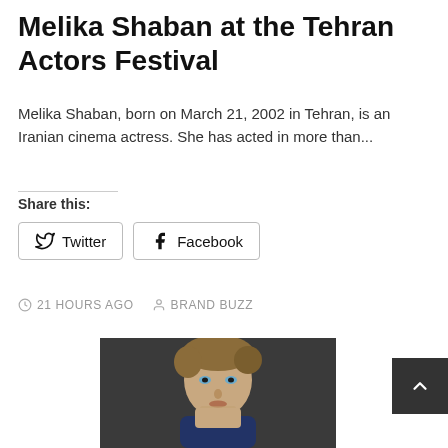Melika Shaban at the Tehran Actors Festival
Melika Shaban, born on March 21, 2002 in Tehran, is an Iranian cinema actress. She has acted in more than...
Share this:
Twitter  Facebook
21 HOURS AGO   BRAND BUZZ
[Figure (photo): Headshot of a young man with light brown hair and blue eyes against a dark background, looking directly at the camera.]